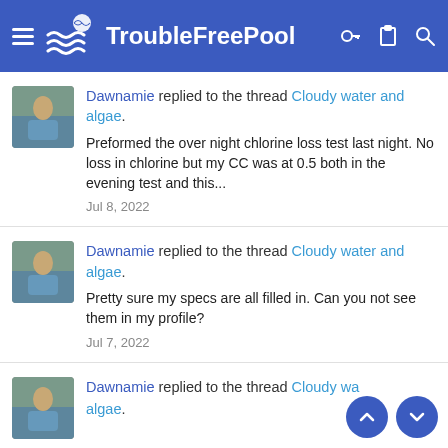TroubleFreePool
Dawnamie replied to the thread Cloudy water and algae. Preformed the over night chlorine loss test last night. No loss in chlorine but my CC was at 0.5 both in the evening test and this... Jul 8, 2022
Dawnamie replied to the thread Cloudy water and algae. Pretty sure my specs are all filled in. Can you not see them in my profile? Jul 7, 2022
Dawnamie replied to the thread Cloudy water and algae.